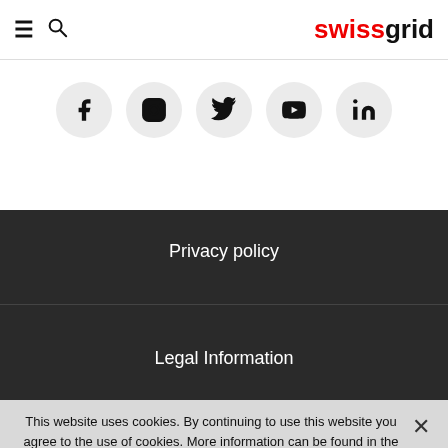swissgrid
[Figure (infographic): Social media icons row: Facebook, Instagram, Twitter, YouTube, LinkedIn — each in a light gray circle]
Privacy policy
Legal Information
This website uses cookies. By continuing to use this website you agree to the use of cookies. More information can be found in the privacy policy or the legal information.